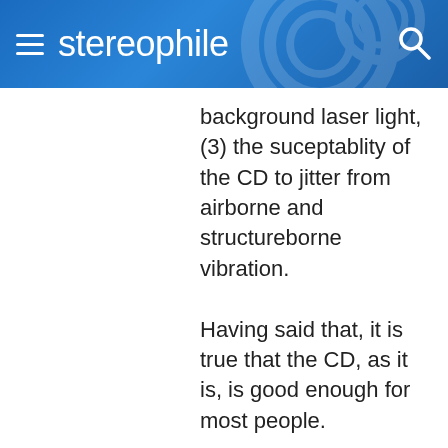stereophile
background laser light, (3) the suceptablity of the CD to jitter from airborne and structureborne vibration.

Having said that, it is true that the CD, as it is, is good enough for most people.
Top   Log in or register to post comments
December 15, 2009 - 10:27am   #67
commsysman   Re: The Cassette Tape Revival
Well,...mine had a lot of use: I